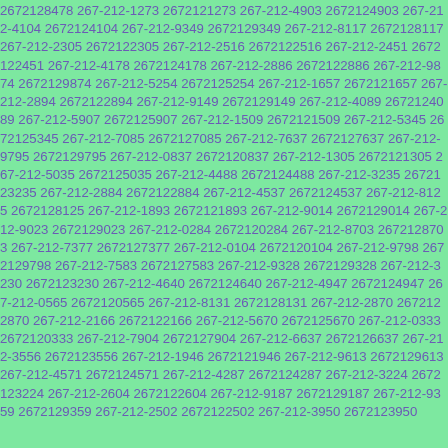2672128478 267-212-1273 2672121273 267-212-4903 2672124903 267-212-4104 2672124104 267-212-9349 2672129349 267-212-8117 2672128117 267-212-2305 2672122305 267-212-2516 2672122516 267-212-2451 2672122451 267-212-4178 2672124178 267-212-2886 2672122886 267-212-9874 2672129874 267-212-5254 2672125254 267-212-1657 2672121657 267-212-2894 2672122894 267-212-9149 2672129149 267-212-4089 2672124089 267-212-5907 2672125907 267-212-1509 2672121509 267-212-5345 2672125345 267-212-7085 2672127085 267-212-7637 2672127637 267-212-9795 2672129795 267-212-0837 2672120837 267-212-1305 2672121305 267-212-5035 2672125035 267-212-4488 2672124488 267-212-3235 2672123235 267-212-2884 2672122884 267-212-4537 2672124537 267-212-8125 2672128125 267-212-1893 2672121893 267-212-9014 2672129014 267-212-9023 2672129023 267-212-0284 2672120284 267-212-8703 2672128703 267-212-7377 2672127377 267-212-0104 2672120104 267-212-9798 2672129798 267-212-7583 2672127583 267-212-9328 2672129328 267-212-3230 2672123230 267-212-4640 2672124640 267-212-4947 2672124947 267-212-0565 2672120565 267-212-8131 2672128131 267-212-2870 2672122870 267-212-2166 2672122166 267-212-5670 2672125670 267-212-0333 2672120333 267-212-7904 2672127904 267-212-6637 2672126637 267-212-3556 2672123556 267-212-1946 2672121946 267-212-9613 2672129613 267-212-4571 2672124571 267-212-4287 2672124287 267-212-3224 2672123224 267-212-2604 2672122604 267-212-9187 2672129187 267-212-9359 2672129359 267-212-2502 2672122502 267-212-3950 2672123950